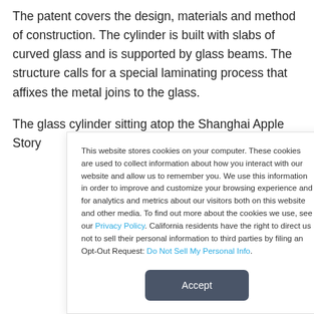The patent covers the design, materials and method of construction. The cylinder is built with slabs of curved glass and is supported by glass beams. The structure calls for a special laminating process that affixes the metal joins to the glass.
The glass cylinder sitting atop the Shanghai Apple Story
This website stores cookies on your computer. These cookies are used to collect information about how you interact with our website and allow us to remember you. We use this information in order to improve and customize your browsing experience and for analytics and metrics about our visitors both on this website and other media. To find out more about the cookies we use, see our Privacy Policy. California residents have the right to direct us not to sell their personal information to third parties by filing an Opt-Out Request: Do Not Sell My Personal Info.